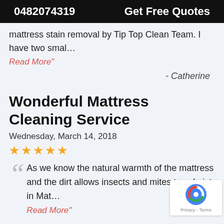0482074319   Get Free Quotes
mattress stain removal by Tip Top Clean Team. I have two smal…
Read More"
- Catherine
Wonderful Mattress Cleaning Service
Wednesday, March 14, 2018
★★★★★
As we know the natural warmth of the mattress and the dirt allows insects and mites to subsist in Mat…
Read More"